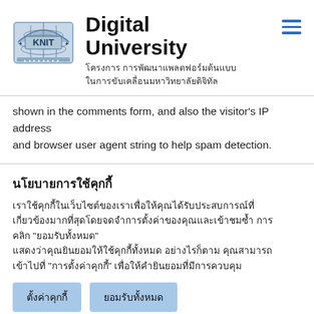[Figure (logo): KNIT university logo — globe with arch, text 'KNIT' and decorative border]
Digital University
โครงการ การพัฒนาแพลตฟอร์มต้นแบบ ในการขับเคลื่อนมหาวิทยาลัยดิจิทัล
shown in the comments form, and also the visitor's IP address and browser user agent string to help spam detection.
นโยบายการใช้คุกกี้
เราใช้คุกกี้ในเว็บไซต์ของเราเพื่อให้คุณได้รับประสบการณ์ที่เกี่ยวข้องมากที่สุดโดยจดจำการตั้งค่าของคุณและเข้าชมซ้ำ การคลิก "ยอมรับทั้งหมด" แสดงว่าคุณยินยอมให้ใช้คุกกี้ทั้งหมด อย่างไรก็ตาม คุณสามารถเข้าไปที่ "การตั้งค่าคุกกี้" เพื่อให้คำยินยอมที่มีการควบคุม